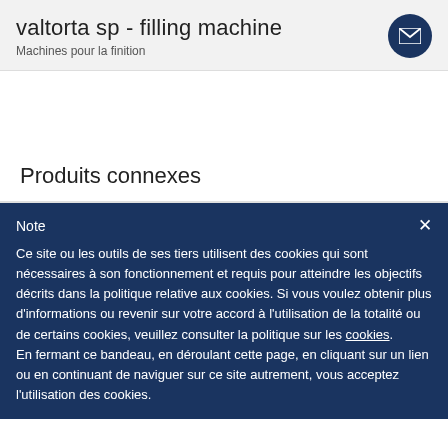valtorta sp - filling machine
Machines pour la finition
Produits connexes
Note
Ce site ou les outils de ses tiers utilisent des cookies qui sont nécessaires à son fonctionnement et requis pour atteindre les objectifs décrits dans la politique relative aux cookies. Si vous voulez obtenir plus d'informations ou revenir sur votre accord à l'utilisation de la totalité ou de certains cookies, veuillez consulter la politique sur les cookies. En fermant ce bandeau, en déroulant cette page, en cliquant sur un lien ou en continuant de naviguer sur ce site autrement, vous acceptez l'utilisation des cookies.